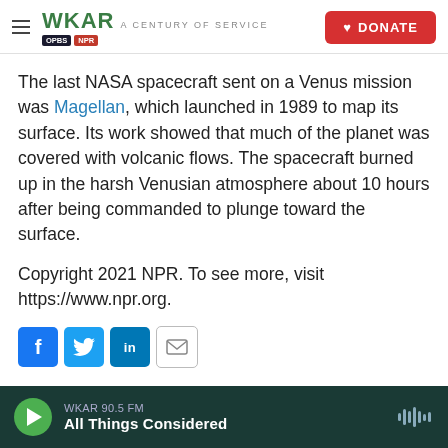WKAR | A CENTURY OF SERVICE | DONATE
The last NASA spacecraft sent on a Venus mission was Magellan, which launched in 1989 to map its surface. Its work showed that much of the planet was covered with volcanic flows. The spacecraft burned up in the harsh Venusian atmosphere about 10 hours after being commanded to plunge toward the surface.
Copyright 2021 NPR. To see more, visit https://www.npr.org.
[Figure (other): Social sharing buttons: Facebook, Twitter, LinkedIn, Email]
WKAR 90.5 FM | All Things Considered